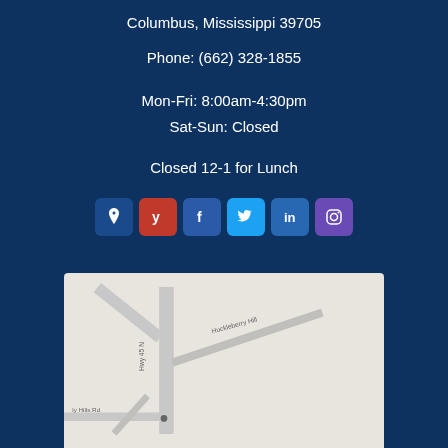Columbus, Mississippi 39705
Phone: (662) 328-1855
Mon-Fri: 8:00am-4:30pm
Sat-Sun: Closed
Closed 12-1 for Lunch
[Figure (infographic): Row of six social media icon buttons: Google Maps (pin icon), Yelp (red), Facebook (blue), Twitter (light blue), LinkedIn (blue), Instagram (purple)]
[Figure (map): Google Maps embed showing the area near Hwy 45 N and Huckleberry Hill in Columbus, Mississippi]